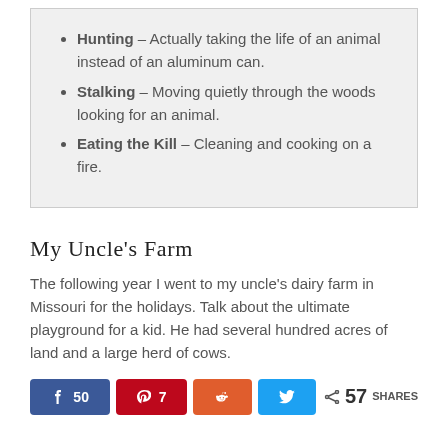Hunting – Actually taking the life of an animal instead of an aluminum can.
Stalking – Moving quietly through the woods looking for an animal.
Eating the Kill – Cleaning and cooking on a fire.
My Uncle's Farm
The following year I went to my uncle's dairy farm in Missouri for the holidays. Talk about the ultimate playground for a kid. He had several hundred acres of land and a large herd of cows.
[Figure (infographic): Social share buttons: Facebook 50, Pinterest 7, Reddit (no count), Twitter (no count), and a share count of 57 SHARES]